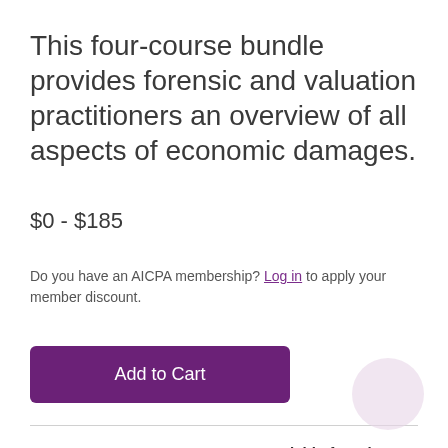This four-course bundle provides forensic and valuation practitioners an overview of all aspects of economic damages.
$0 - $185
Do you have an AICPA membership? Log in to apply your member discount.
Add to Cart
| Format | NASBA Field of Study |
| --- | --- |
| Online | Accounting |
| Level | CPE Credits |